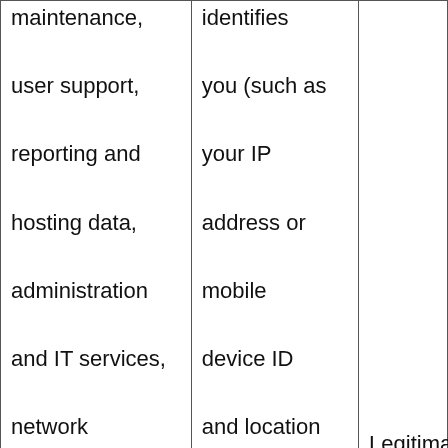| maintenance, user support, reporting and hosting data, administration and IT services, network security, fraud prevention, customer services and business reorganization, including | identifies you (such as your IP address or mobile device ID and location data) and data that directly identifies you (such as your name, username, | Legitimate interest. |